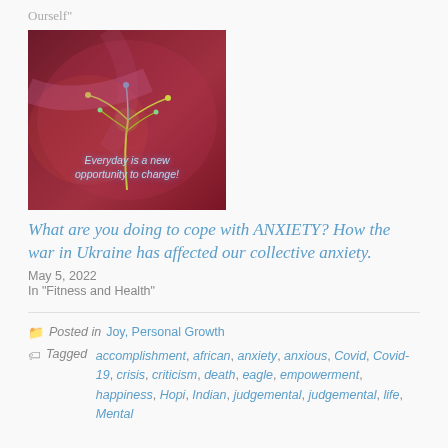Ourself"
[Figure (photo): Dark red/maroon background with colorful neon-like plant/tree design and text overlay reading 'Everyday is a new opportunity to change!']
What are you doing to cope with ANXIETY? How the war in Ukraine has affected our collective anxiety.
May 5, 2022
In "Fitness and Health"
Posted in Joy, Personal Growth
Tagged accomplishment, african, anxiety, anxious, Covid, Covid-19, crisis, criticism, death, eagle, empowerment, happiness, Hopi, Indian, judgemental, judgemental, life, Mental